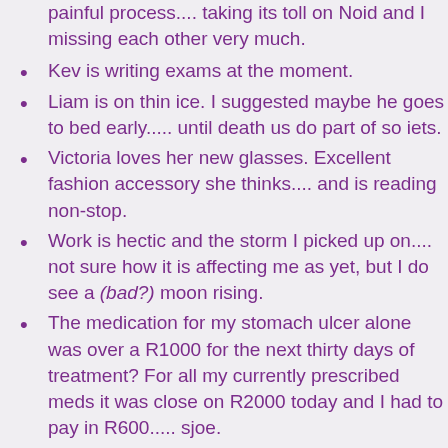painful process.... taking its toll on Noid and I missing each other very much.
Kev is writing exams at the moment.
Liam is on thin ice. I suggested maybe he goes to bed early..... until death us do part of so iets.
Victoria loves her new glasses. Excellent fashion accessory she thinks.... and is reading non-stop.
Work is hectic and the storm I picked up on.... not sure how it is affecting me as yet, but I do see a (bad?) moon rising.
The medication for my stomach ulcer alone was over a R1000 for the next thirty days of treatment? For all my currently prescribed meds it was close on R2000 today and I had to pay in R600..... sjoe.
Made me feel crap that so much money has to be paid for me to be pain-free, and this is without